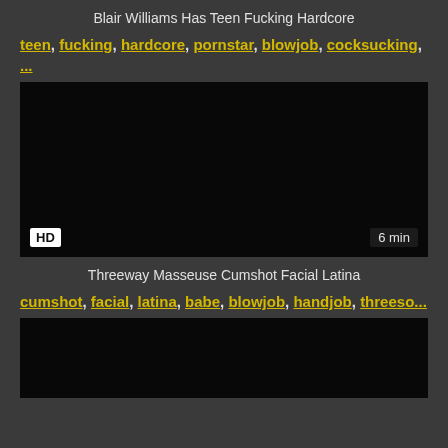Blair Williams Has Teen Fucking Hardcore
teen, fucking, hardcore, pornstar, blowjob, cocksucking, ...
[Figure (screenshot): Black video thumbnail with HD badge and 6 min duration label]
Threeway Masseuse Cumshot Facial Latina
cumshot, facial, latina, babe, blowjob, handjob, threeso...
[Figure (screenshot): Black video thumbnail (partially visible)]